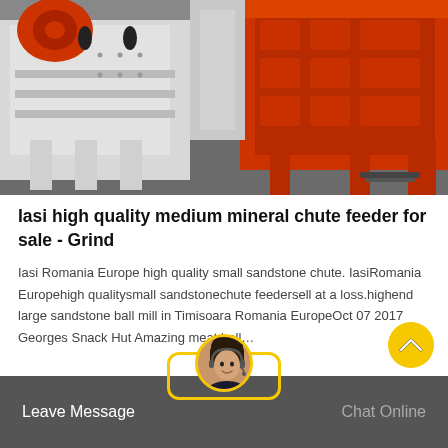[Figure (photo): Industrial mining/crushing equipment — large orange and white machinery (impact crushers or chute feeders) on a concrete floor, viewed from close range.]
Iasi high quality medium mineral chute feeder for sale - Grind
Iasi Romania Europe high quality small sandstone chute. IasiRomania Europehigh qualitysmall sandstonechute feedersell at a loss.highend large sandstone ball mill in Timisoara Romania EuropeOct 07 2017 Georges Snack Hut Amazing meat ball…
[Figure (photo): Customer service chat avatar — woman with headset, circular photo with yellow border, overlaid on a yellow-outlined rounded rectangle button, above a dark grey bottom bar.]
Leave Message
Chat Online